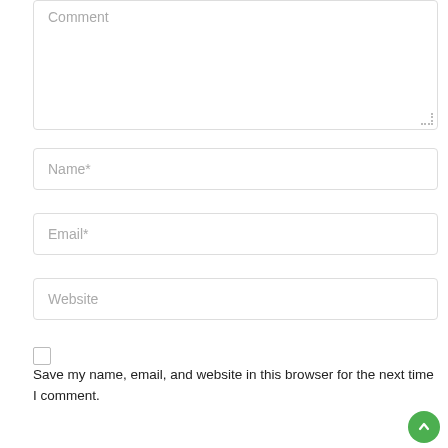Comment
Name*
Email*
Website
Save my name, email, and website in this browser for the next time I comment.